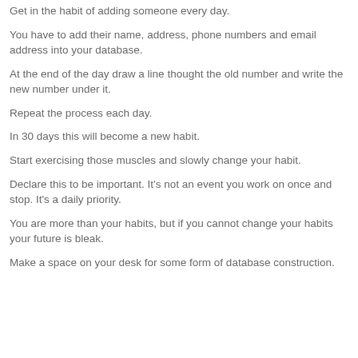Get in the habit of adding someone every day.
You have to add their name, address, phone numbers and email address into your database.
At the end of the day draw a line thought the old number and write the new number under it.
Repeat the process each day.
In 30 days this will become a new habit.
Start exercising those muscles and slowly change your habit.
Declare this to be important. It's not an event you work on once and stop. It's a daily priority.
You are more than your habits, but if you cannot change your habits your future is bleak.
Make a space on your desk for some form of database construction.